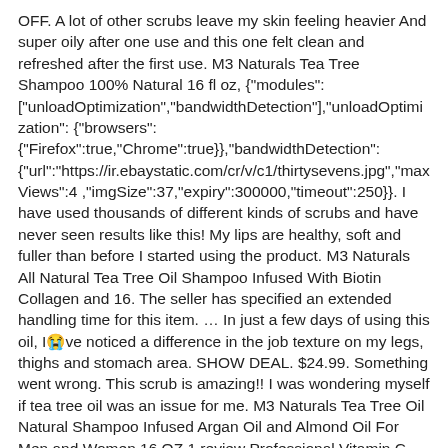OFF. A lot of other scrubs leave my skin feeling heavier And super oily after one use and this one felt clean and refreshed after the first use. M3 Naturals Tea Tree Shampoo 100% Natural 16 fl oz, {"modules": ["unloadOptimization","bandwidthDetection"],"unloadOptimization": {"browsers":{"Firefox":true,"Chrome":true}},"bandwidthDetection": {"url":"https://ir.ebaystatic.com/cr/v/c1/thirtysevens.jpg","maxViews":4 ,"imgSize":37,"expiry":300000,"timeout":250}}. I have used thousands of different kinds of scrubs and have never seen results like this! My lips are healthy, soft and fuller than before I started using the product. M3 Naturals All Natural Tea Tree Oil Shampoo Infused With Biotin Collagen and 16. The seller has specified an extended handling time for this item. … In just a few days of using this oil, I've noticed a difference in the job texture on my legs, thighs and stomach area. SHOW DEAL. $24.99. Something went wrong. This scrub is amazing!! I was wondering myself if tea tree oil was an issue for me. M3 Naturals Tea Tree Oil Natural Shampoo Infused Argan Oil and Almond Oil For Men and Women 16 OZ 1 review Professional Vitamin C Serum for Face Professional Vitamin C Serum for Face It is all natural and a little clunky but once it hits the water it is so nice and smooth! M3 Naturals Tea Tree Oil Foot Soak Infused with Stem Cell and Coconut Oil Epsom Salt for Athletes Foot Stubborn Odor… Foot, Hand and Nail Care $ 19.79